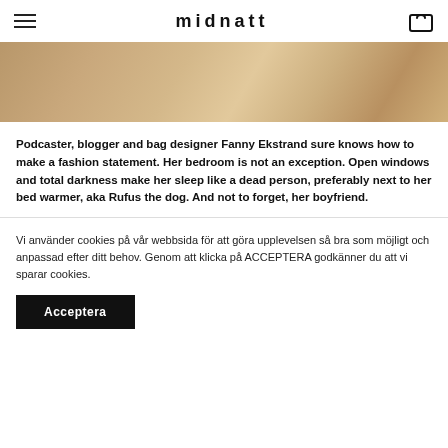midnatt
[Figure (photo): Close-up photo of crumpled beige/tan fabric or clothing on a bed]
Podcaster, blogger and bag designer Fanny Ekstrand sure knows how to make a fashion statement. Her bedroom is not an exception. Open windows and total darkness make her sleep like a dead person, preferably next to her bed warmer, aka Rufus the dog. And not to forget, her boyfriend.
Vi använder cookies på vår webbsida för att göra upplevelsen så bra som möjligt och anpassad efter ditt behov. Genom att klicka på ACCEPTERA godkänner du att vi sparar cookies.
Acceptera